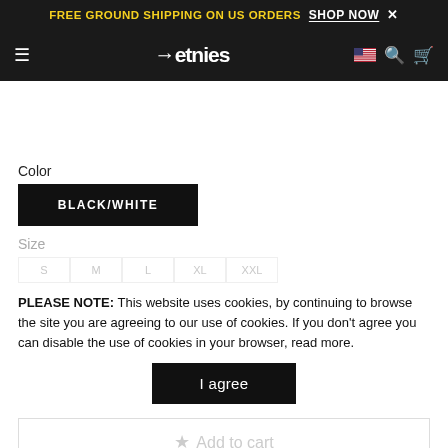FREE GROUND SHIPPING ON US ORDERS SHOP NOW ×
etnies
Color
BLACK/WHITE
Size
S  M  L  XL  XXL
PLEASE NOTE: This website uses cookies, by continuing to browse the site you are agreeing to our use of cookies. If you don't agree you can disable the use of cookies in your browser, read more.
I agree
Add to cart